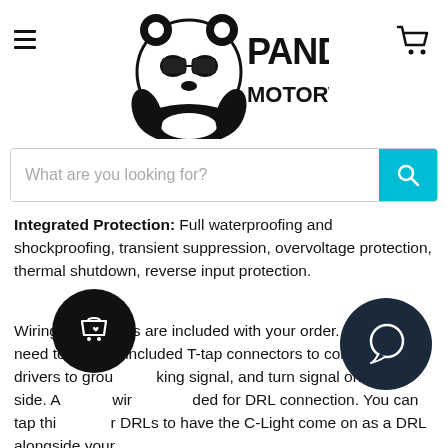Panda Motorworks — navigation header with hamburger menu, logo, and cart icon
What are you looking for?
Integrated Protection: Full waterproofing and shockproofing, transient suppression, overvoltage protection, thermal shutdown, reverse input protection.
Wiring instructions are included with your order. You will need to use the included T-tap connectors to connect the drivers to ground, parking signal, and turn signal on each side. An extra wire is included for DRL connection. You can tap this to your DRLs to have the C-Light come on as a DRL alongside your factory DRL bulb.